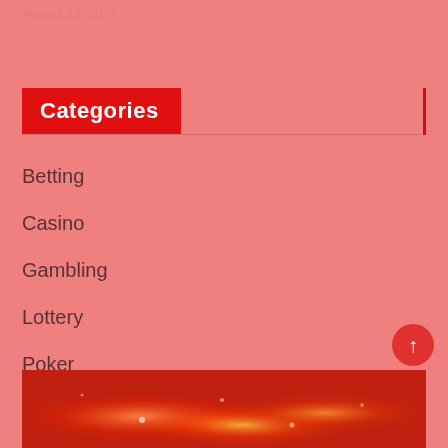August 23, 2023
Categories
Betting
Casino
Gambling
Lottery
Poker
slot
[Figure (photo): Red glowing bokeh lights background image at bottom of page]